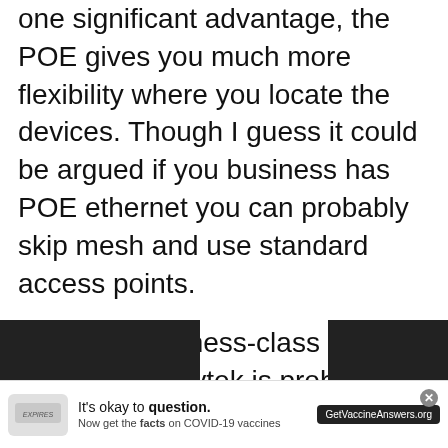one significant advantage, the POE gives you much more flexibility where you locate the devices. Though I guess it could be argued if you business has POE ethernet you can probably skip mesh and use standard access points.
As far as business-class access points go, Draytek is probably not far off for pricing. The Zyxel nebula access points can be had for as little as £77 or £123 for the faster NWA1123-AC PRO. Engenius has the EAP1250 for
[Figure (other): Advertisement banner: It's okay to question. Now get the facts on COVID-19 vaccines. GetVaccineAnswers.org]